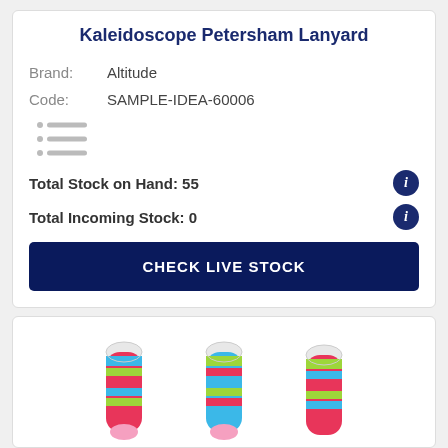Kaleidoscope Petersham Lanyard
Brand: Altitude
Code: SAMPLE-IDEA-60006
[Figure (other): Small list/checklist icon with three rows of bullet and lines]
Total Stock on Hand: 55
Total Incoming Stock: 0
CHECK LIVE STOCK
[Figure (photo): Three colorful kaleidoscope petersham lanyards shown hanging, with multicolor striped pattern in pink, blue, green and white]